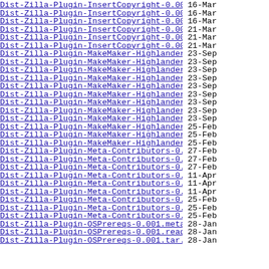Dist-Zilla-Plugin-InsertCopyright-0.004.meta  16-Mar
Dist-Zilla-Plugin-InsertCopyright-0.004.readme  16-Mar
Dist-Zilla-Plugin-InsertCopyright-0.004.tar.gz  16-Mar
Dist-Zilla-Plugin-InsertCopyright-0.005.meta  21-Mar
Dist-Zilla-Plugin-InsertCopyright-0.005.readme  21-Mar
Dist-Zilla-Plugin-InsertCopyright-0.005.tar.gz  21-Mar
Dist-Zilla-Plugin-MakeMaker-Highlander-0.001.meta  23-Sep
Dist-Zilla-Plugin-MakeMaker-Highlander-0.001.re..>  23-Sep
Dist-Zilla-Plugin-MakeMaker-Highlander-0.001.ta..>  23-Sep
Dist-Zilla-Plugin-MakeMaker-Highlander-0.002.meta  23-Sep
Dist-Zilla-Plugin-MakeMaker-Highlander-0.002.re..>  23-Sep
Dist-Zilla-Plugin-MakeMaker-Highlander-0.002.ta..>  23-Sep
Dist-Zilla-Plugin-MakeMaker-Highlander-0.003.meta  23-Sep
Dist-Zilla-Plugin-MakeMaker-Highlander-0.003.re..>  23-Sep
Dist-Zilla-Plugin-MakeMaker-Highlander-0.003.ta..>  23-Sep
Dist-Zilla-Plugin-MakeMaker-Highlander-0.004.meta  25-Feb
Dist-Zilla-Plugin-MakeMaker-Highlander-0.004.re..>  25-Feb
Dist-Zilla-Plugin-MakeMaker-Highlander-0.004.ta..>  25-Feb
Dist-Zilla-Plugin-Meta-Contributors-0.001.meta  27-Feb
Dist-Zilla-Plugin-Meta-Contributors-0.001.readme  27-Feb
Dist-Zilla-Plugin-Meta-Contributors-0.001.tar.gz  27-Feb
Dist-Zilla-Plugin-Meta-Contributors-0.002.meta  11-Apr
Dist-Zilla-Plugin-Meta-Contributors-0.002.readme  11-Apr
Dist-Zilla-Plugin-Meta-Contributors-0.002.tar.gz  11-Apr
Dist-Zilla-Plugin-Meta-Contributors-0.003.meta  25-Feb
Dist-Zilla-Plugin-Meta-Contributors-0.003.readme  25-Feb
Dist-Zilla-Plugin-Meta-Contributors-0.003.tar.gz  25-Feb
Dist-Zilla-Plugin-OSPrereqs-0.001.meta  28-Jan
Dist-Zilla-Plugin-OSPrereqs-0.001.readme  28-Jan
Dist-Zilla-Plugin-OSPrereqs-0.001.tar.gz  28-Jan